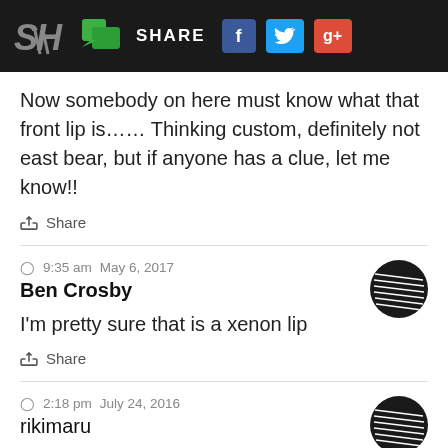SH | SHARE [Facebook] [Twitter] [Google+]
Now somebody on here must know what that front lip is…… Thinking custom, definitely not east bear, but if anyone has a clue, let me know!!
Share
9:35 am  May 6, 2017
Ben Crosby
I'm pretty sure that is a xenon lip
Share
2:18 pm  July 24, 2016
rikimaru
with the old style car that looks good on